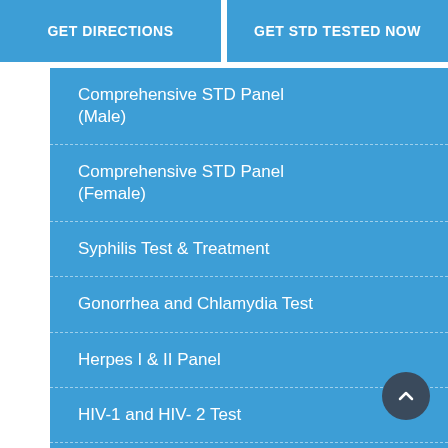GET DIRECTIONS
GET STD TESTED NOW
Comprehensive STD Panel (Male)
Comprehensive STD Panel (Female)
Syphilis Test & Treatment
Gonorrhea and Chlamydia Test
Herpes I & II Panel
HIV-1 and HIV- 2 Test
Trichomonas Test
Chlamydia Test Only